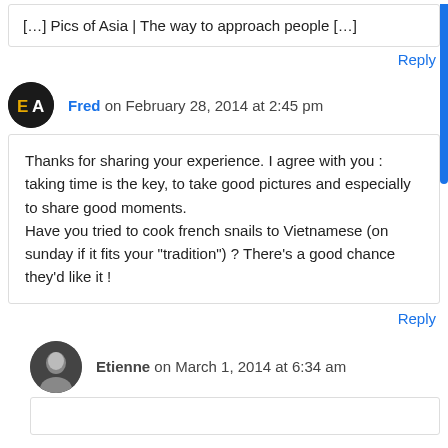[…] Pics of Asia | The way to approach people […]
Reply
Fred on February 28, 2014 at 2:45 pm
Thanks for sharing your experience. I agree with you : taking time is the key, to take good pictures and especially to share good moments. Have you tried to cook french snails to Vietnamese (on sunday if it fits your "tradition") ? There's a good chance they'd like it !
Reply
Etienne on March 1, 2014 at 6:34 am